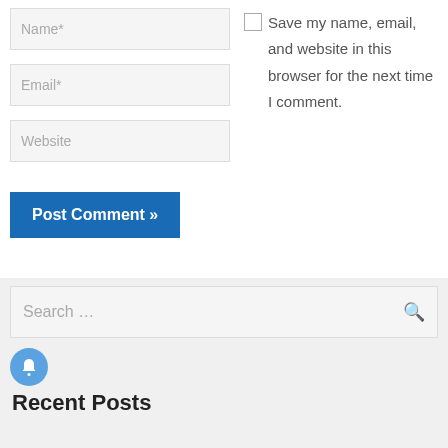Name*
Email*
Website
Save my name, email, and website in this browser for the next time I comment.
Post Comment »
Search …
Recent Posts